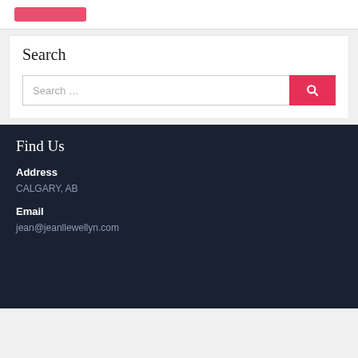Search
Search …
Find Us
Address
CALGARY, AB
Email
jean@jeanllewellyn.com